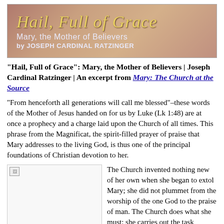[Figure (illustration): Banner image with text 'Hail, Full of Grace' in italic gold script, subtitle 'Mary, the Mother of Believers' and 'by JOSEPH CARDINAL RATZINGER' in white on a rosy/mauve background with an image of Mary on the right.]
"Hail, Full of Grace": Mary, the Mother of Believers | Joseph Cardinal Ratzinger | An excerpt from Mary: The Church at the Source
"From henceforth all generations will call me blessed"–these words of the Mother of Jesus handed on for us by Luke (Lk 1:48) are at once a prophecy and a charge laid upon the Church of all times. This phrase from the Magnificat, the spirit-filled prayer of praise that Mary addresses to the living God, is thus one of the principal foundations of Christian devotion to her.
[Figure (photo): Broken image placeholder (small icon with torn image indicator) on the left side of a two-column layout.]
The Church invented nothing new of her own when she began to extol Mary; she did not plummet from the worship of the one God to the praise of man. The Church does what she must; she carries out the task assigned her from the beginning. At the time Luke was writing this text,